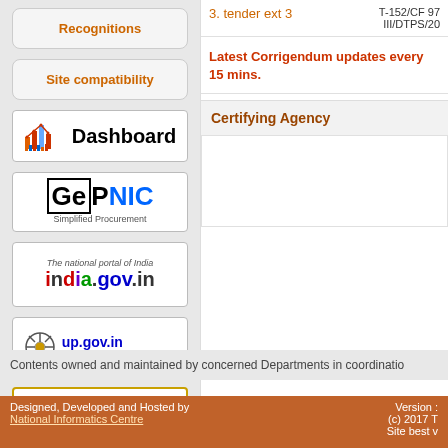Recognitions
Site compatibility
[Figure (screenshot): Dashboard logo with bar chart icon]
[Figure (logo): GePNIC - Simplified Procurement logo]
[Figure (logo): india.gov.in - The national portal of India]
[Figure (logo): up.gov.in - Uttar Pradesh Govt Portal]
[Figure (logo): Government of India Central Public Procurement Portal]
3. tender ext 3
T-152/CF 97
III/DTPS/20
Latest Corrigendum updates every 15 mins.
Certifying Agency
Contents owned and maintained by concerned Departments in coordinatio
Designed, Developed and Hosted by National Informatics Centre
Version :
(c) 2017 T
Site best v